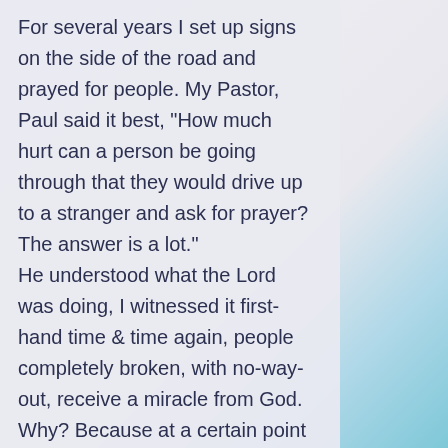For several years I set up signs on the side of the road and prayed for people. My Pastor, Paul said it best, “How much hurt can a person be going through that they would drive up to a stranger and ask for prayer? The answer is a lot.” He understood what the Lord was doing, I witnessed it first-hand time & time again, people completely broken, with no-way-out, receive a miracle from God. Why? Because at a certain point they humbled themselves, putting away